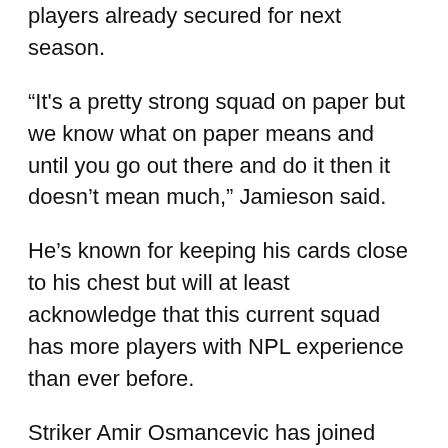players already secured for next season.
“It's a pretty strong squad on paper but we know what on paper means and until you go out there and do it then it doesn’t mean much,” Jamieson said.
He’s known for keeping his cards close to his chest but will at least acknowledge that this current squad has more players with NPL experience than ever before.
Striker Amir Osmancevic has joined from Northcote, defenders Andy McIntyre and Andy Mclean and striker Liam Baxter have been signed from Langwarrin, midfielder Sam Catherine has been lured from Dandenong Thunder along with goalkeeper Sermin Sadkovski from Richmond while midfielder or winger Ross Clark has joined from Mooroolbark.
Goalkeeper Steve Bayard, defenders Josh Valadon and